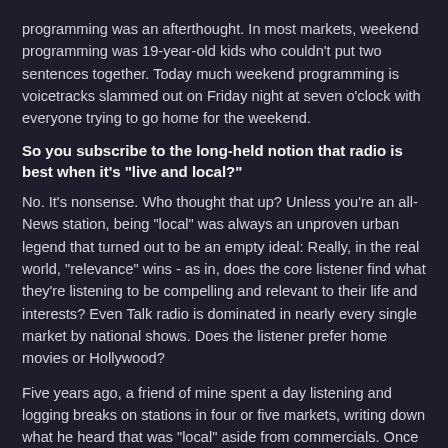programming was an afterthought. In most markets, weekend programming was 19-year-old kids who couldn't put two sentences together. Today much weekend programming is voicetracks slammed out on Friday night at seven o'clock with everyone trying to go home for the weekend.
So you subscribe to the long-held notion that radio is best when it's "live and local?"
No. It's nonsense. Who thought that up? Unless you're an all-News station, being "local" was always an unproven urban legend that turned out to be an empty ideal: Really, in the real world, "relevance" wins - as in, does the core listener find what they're listening to be compelling and relevant to their life and interests? Even Talk radio is dominated in nearly every single market by national shows. Does the listener prefer home movies or Hollywood?
Five years ago, a friend of mine spent a day listening and logging breaks on stations in four or five markets, writing down what he heard that was "local" aside from commercials. Once he excluded promos and the morning show, there was virtually nothing local ...